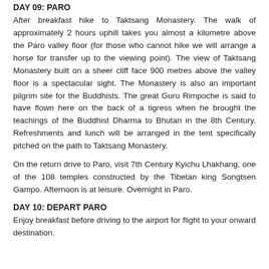DAY 09: PARO
After breakfast hike to Taktsang Monastery. The walk of approximately 2 hours uphill takes you almost a kilometre above the Paro valley floor (for those who cannot hike we will arrange a horse for transfer up to the viewing point). The view of Taktsang Monastery built on a sheer cliff face 900 metres above the valley floor is a spectacular sight. The Monastery is also an important pilgrim site for the Buddhists. The great Guru Rimpoche is said to have flown here on the back of a tigress when he brought the teachings of the Buddhist Dharma to Bhutan in the 8th Century. Refreshments and lunch will be arranged in the tent specifically pitched on the path to Taktsang Monastery.
On the return drive to Paro, visit 7th Century Kyichu Lhakhang, one of the 108 temples constructed by the Tibetan king Songtsen Gampo. Afternoon is at leisure. Overnight in Paro.
DAY 10: DEPART PARO
Enjoy breakfast before driving to the airport for flight to your onward destination.